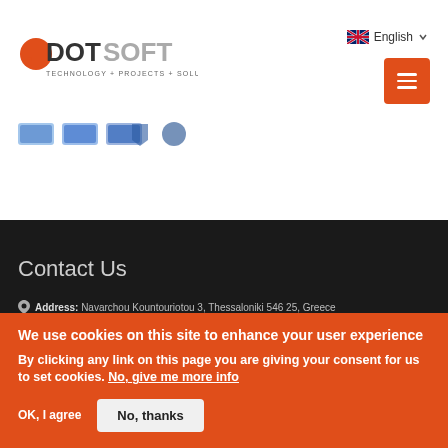[Figure (logo): DotSoft logo with orange dot, bold text DOTSOFT, tagline TECHNOLOGY + PROJECTS + SOLUTIONS]
English
[Figure (screenshot): Orange hamburger menu button with three white horizontal lines]
[Figure (illustration): Row of small social media or partner icon badges in blue and white]
Contact Us
Address: Navarchou Kountouriotou 3, Thessaloniki 546 25, Greece
We use cookies on this site to enhance your user experience
By clicking any link on this page you are giving your consent for us to set cookies. No, give me more info
OK, I agree
No, thanks